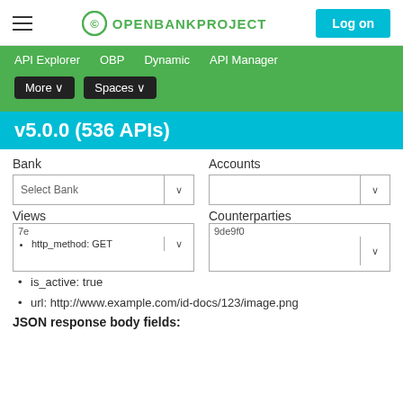OPENBANKPROJECT — Log on
API Explorer  OBP  Dynamic  API Manager  More ∨  Spaces ∨
v5.0.0 (536 APIs)
Bank  Accounts  Select Bank ∨  Views  Counterparties  7e  9de9f0
http_method: GET
is_active: true
url: http://www.example.com/id-docs/123/image.png
JSON response body fields: